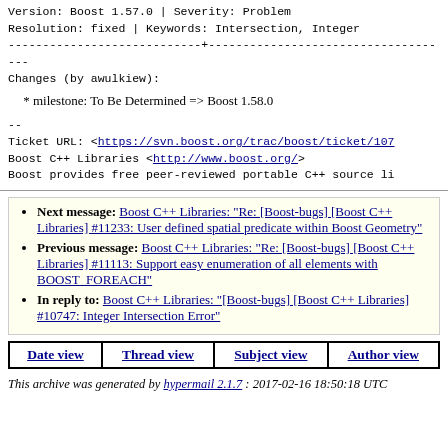Version: Boost 1.57.0 | Severity: Problem
Resolution: fixed | Keywords: Intersection, Integer
----------------------------+------------------------------------
Changes (by awulkiew):
* milestone: To Be Determined => Boost 1.58.0
--
Ticket URL: <https://svn.boost.org/trac/boost/ticket/107...
Boost C++ Libraries <http://www.boost.org/>
Boost provides free peer-reviewed portable C++ source lib...
Next message: Boost C++ Libraries: "Re: [Boost-bugs] [Boost C++ Libraries] #11233: User defined spatial predicate within Boost Geometry"
Previous message: Boost C++ Libraries: "Re: [Boost-bugs] [Boost C++ Libraries] #11113: Support easy enumeration of all elements with BOOST_FOREACH"
In reply to: Boost C++ Libraries: "[Boost-bugs] [Boost C++ Libraries] #10747: Integer Intersection Error"
| Date view | Thread view | Subject view | Author view |
| --- | --- | --- | --- |
This archive was generated by hypermail 2.1.7 : 2017-02-16 18:50:18 UTC